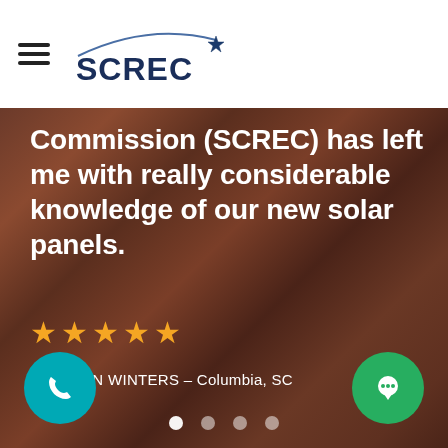[Figure (logo): SCREC logo with hamburger menu icon on white header bar. Logo shows 'SCREC' in bold dark blue with a shooting star graphic above.]
Commission (SCREC) has left me with really considerable knowledge of our new solar panels.
[Figure (other): Five gold star rating]
CAROLYN WINTERS – Columbia, SC
[Figure (other): Carousel navigation dots — 4 dots, first one active (white), rest semi-transparent]
[Figure (other): Teal circular phone call button at bottom left]
[Figure (other): Green circular chat/message button at bottom right]